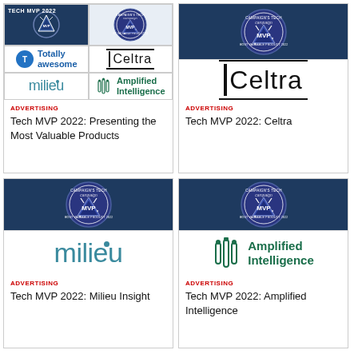[Figure (illustration): Card with collage of logos: Tech MVP 2022 dark banner top-left, Campaign Tech MVP badge top-right area, Totally Awesome and Celtra logos bottom row, milieu and Amplified Intelligence logos]
ADVERTISING
Tech MVP 2022: Presenting the Most Valuable Products
[Figure (illustration): Card with Campaign Tech MVP badge on dark blue background and large Celtra logo below]
ADVERTISING
Tech MVP 2022: Celtra
[Figure (illustration): Card with Campaign Tech MVP badge on dark blue background and large milieu logo below]
ADVERTISING
Tech MVP 2022: Milieu Insight
[Figure (illustration): Card with Campaign Tech MVP badge on dark blue background and Amplified Intelligence logo below]
ADVERTISING
Tech MVP 2022: Amplified Intelligence